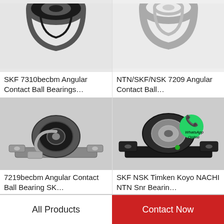[Figure (photo): Partial view of SKF 7310becbm Angular Contact Ball Bearing (top portion cropped), dark metallic ring]
SKF 7310becbm Angular Contact Ball Bearings…
[Figure (photo): Partial view of NTN/SKF/NSK 7209 Angular Contact Ball bearing (top portion cropped), light grey bearing]
NTN/SKF/NSK 7209 Angular Contact Ball…
[Figure (photo): 7219becbm Angular Contact Ball Bearing pillow block mount, silver and black housing]
7219becbm Angular Contact Ball Bearing SK…
[Figure (photo): SKF NSK Timken Koyo NACHI NTN Snr bearing pillow block, black housing with WhatsApp Online watermark overlay]
SKF NSK Timken Koyo NACHI NTN Snr Bearin…
All Products
Contact Now